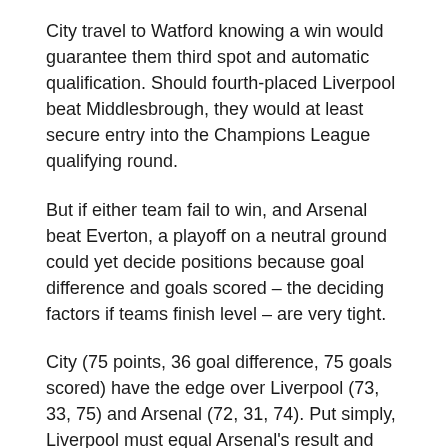City travel to Watford knowing a win would guarantee them third spot and automatic qualification. Should fourth-placed Liverpool beat Middlesbrough, they would at least secure entry into the Champions League qualifying round.
But if either team fail to win, and Arsenal beat Everton, a playoff on a neutral ground could yet decide positions because goal difference and goals scored – the deciding factors if teams finish level – are very tight.
City (75 points, 36 goal difference, 75 goals scored) have the edge over Liverpool (73, 33, 75) and Arsenal (72, 31, 74). Put simply, Liverpool must equal Arsenal's result and could even afford to lose to Middlesbrough by a single goal and still finish fourth if the Gunners draw.
Last season Arsenal pipped rivals Spurs to an unlikely